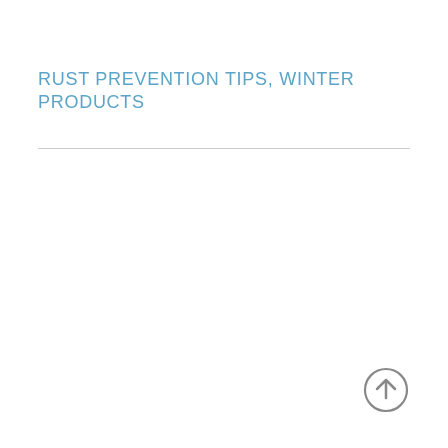RUST PREVENTION TIPS, WINTER PRODUCTS
[Figure (other): Upward arrow icon in a circle, grey outlined]